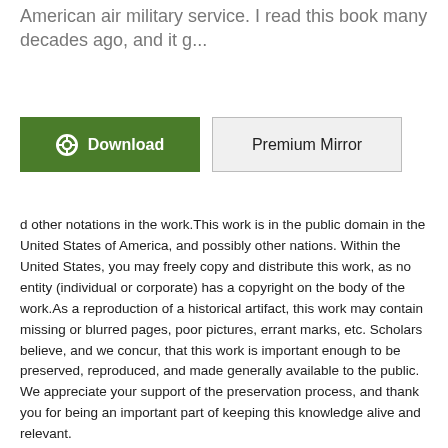American air military service. I read this book many decades ago, and it g...
[Figure (other): Two buttons side by side: a green Download button with a circle-arrow icon, and a light gray Premium Mirror button with a border.]
d other notations in the work.This work is in the public domain in the United States of America, and possibly other nations. Within the United States, you may freely copy and distribute this work, as no entity (individual or corporate) has a copyright on the body of the work.As a reproduction of a historical artifact, this work may contain missing or blurred pages, poor pictures, errant marks, etc. Scholars believe, and we concur, that this work is important enough to be preserved, reproduced, and made generally available to the public. We appreciate your support of the preservation process, and thank you for being an important part of keeping this knowledge alive and relevant.